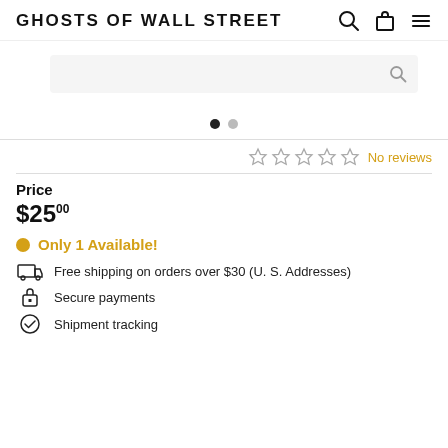GHOSTS OF WALL STREET
[Figure (screenshot): Product image area with search overlay and carousel dots]
No reviews (star rating: 0 out of 5)
Price
$25.00
Only 1 Available!
Free shipping on orders over $30 (U. S. Addresses)
Secure payments
Shipment tracking